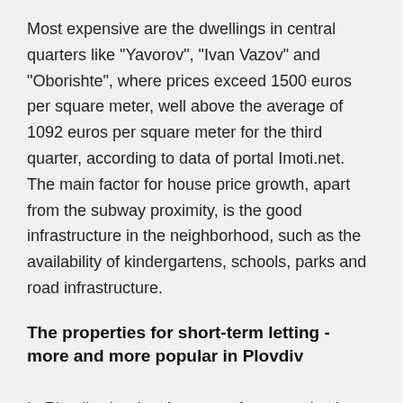Most expensive are the dwellings in central quarters like "Yavorov", "Ivan Vazov" and "Oborishte", where prices exceed 1500 euros per square meter, well above the average of 1092 euros per square meter for the third quarter, according to data of portal Imoti.net. The main factor for house price growth, apart from the subway proximity, is the good infrastructure in the neighborhood, such as the availability of kindergartens, schools, parks and road infrastructure.
The properties for short-term letting - more and more popular in Plovdiv
In Plovdiv, the development of new productions in the industrial zone attracts people from neighboring areas